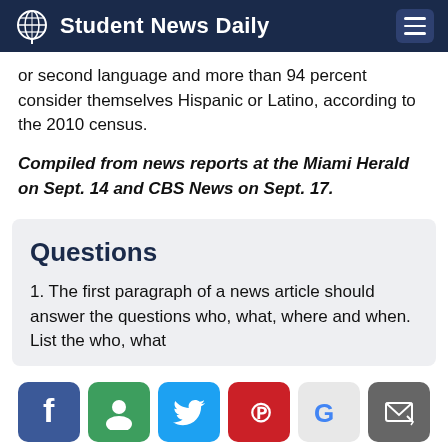Student News Daily
or second language and more than 94 percent consider themselves Hispanic or Latino, according to the 2010 census.
Compiled from news reports at the Miami Herald on Sept. 14 and CBS News on Sept. 17.
Questions
1. The first paragraph of a news article should answer the questions who, what, where and when. List the who, what